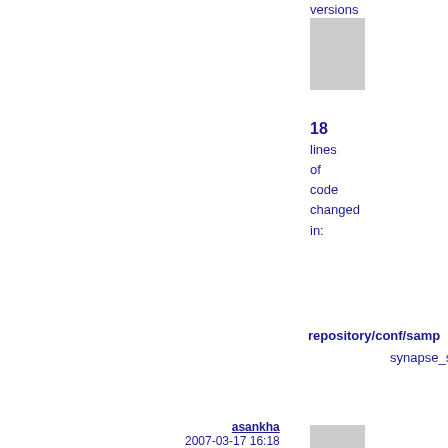versions
18 lines of code changed in:
repository/conf/samp synapse_s
asankha 2007-03-17 16:18
set eol-style=native for java, xml, html and properties files eol-style=LF for sh